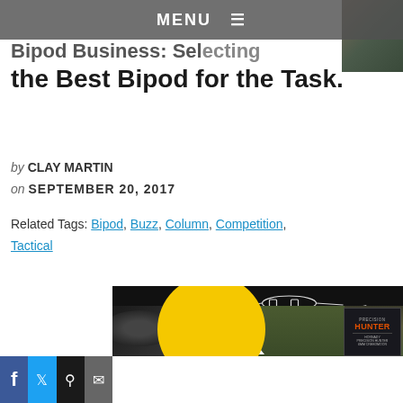MENU
Bipod Business: Selecting the Best Bipod for the Task.
by CLAY MARTIN
on SEPTEMBER 20, 2017
Related Tags: Bipod, Buzz, Column, Competition, Tactical
[Figure (photo): Long Range Shooting Guns America Digest magazine cover ad with rifle outline, yellow text, and Hornady Precision Hunter product box]